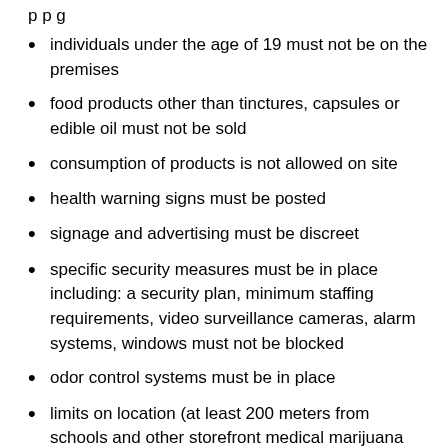p p g
individuals under the age of 19 must not be on the premises
food products other than tinctures, capsules or edible oil must not be sold
consumption of products is not allowed on site
health warning signs must be posted
signage and advertising must be discreet
specific security measures must be in place including: a security plan, minimum staffing requirements, video surveillance cameras, alarm systems, windows must not be blocked
odor control systems must be in place
limits on location (at least 200 meters from schools and other storefront medical marijuana retailers)
limits on hours of operation (must be closed between 8 p.m. and 7 a.m.)